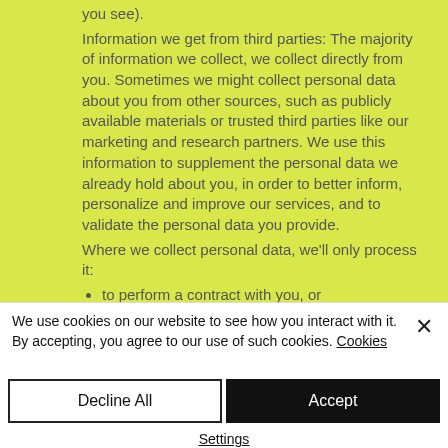you see). Information we get from third parties: The majority of information we collect, we collect directly from you. Sometimes we might collect personal data about you from other sources, such as publicly available materials or trusted third parties like our marketing and research partners. We use this information to supplement the personal data we already hold about you, in order to better inform, personalize and improve our services, and to validate the personal data you provide. Where we collect personal data, we'll only process it:
to perform a contract with you, or
where we have legitimate interests to process the personal data and they're
We use cookies on our website to see how you interact with it. By accepting, you agree to our use of such cookies. Cookies
Decline All
Accept
Settings